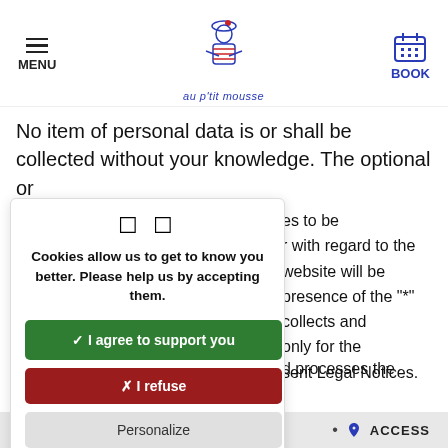[Figure (logo): Au P'tit Mousse restaurant logo – cartoon sailor figure with hamburger menu and book icons in header]
No item of personal data is or shall be collected without your knowledge. The optional or
es to be
r with regard to the
website will be
presence of the "*"
collects and
only for the
sent Legal Notices.
Cookies allow us to get to know you better. Please help us by accepting them.
✓ I agree to support you
✗ I refuse
Personalize
d processes the
ACCESS